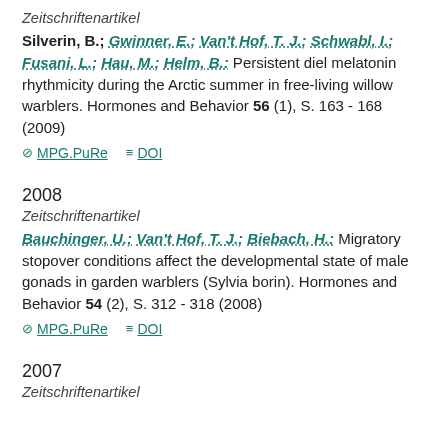Zeitschriftenartikel
Silverin, B.; Gwinner, E.; Van't Hof, T. J.; Schwabl, I.; Fusani, L.; Hau, M.; Helm, B.: Persistent diel melatonin rhythmicity during the Arctic summer in free-living willow warblers. Hormones and Behavior 56 (1), S. 163 - 168 (2009)
MPG.PuRe   DOI
2008
Zeitschriftenartikel
Bauchinger, U.; Van't Hof, T. J.; Biebach, H.: Migratory stopover conditions affect the developmental state of male gonads in garden warblers (Sylvia borin). Hormones and Behavior 54 (2), S. 312 - 318 (2008)
MPG.PuRe   DOI
2007
Zeitschriftenartikel